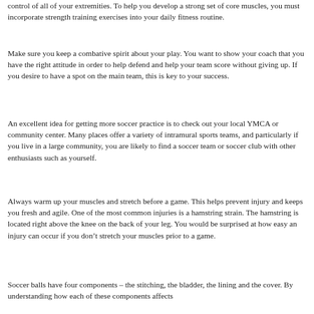control of all of your extremities. To help you develop a strong set of core muscles, you must incorporate strength training exercises into your daily fitness routine.
Make sure you keep a combative spirit about your play. You want to show your coach that you have the right attitude in order to help defend and help your team score without giving up. If you desire to have a spot on the main team, this is key to your success.
An excellent idea for getting more soccer practice is to check out your local YMCA or community center. Many places offer a variety of intramural sports teams, and particularly if you live in a large community, you are likely to find a soccer team or soccer club with other enthusiasts such as yourself.
Always warm up your muscles and stretch before a game. This helps prevent injury and keeps you fresh and agile. One of the most common injuries is a hamstring strain. The hamstring is located right above the knee on the back of your leg. You would be surprised at how easy an injury can occur if you don’t stretch your muscles prior to a game.
Soccer balls have four components – the stitching, the bladder, the lining and the cover. By understanding how each of these components affects how the ball moves, you can make your dribbling skills better.